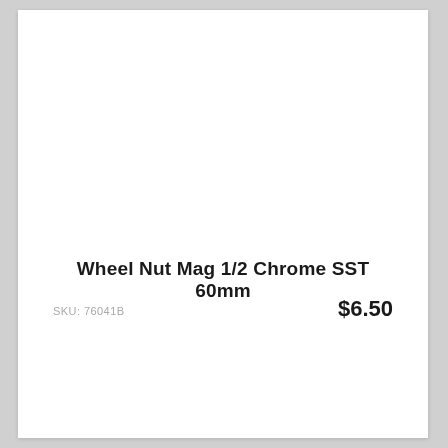Wheel Nut Mag 1/2 Chrome SST 60mm
SKU: 76041B
$6.50